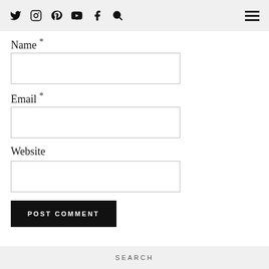Twitter Instagram Pinterest YouTube Facebook Search [hamburger menu]
Name *
Email *
Website
POST COMMENT
SEARCH